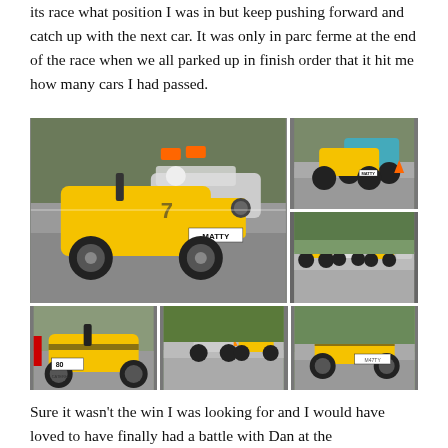its race what position I was in but keep pushing forward and catch up with the next car. It was only in parc ferme at the end of the race when we all parked up in finish order that it hit me how many cars I had passed.
[Figure (photo): Collage of six racing photos showing yellow Caterham/Lotus Seven style open-wheel racing cars on track. The main large image shows a yellow car with 'MATTY' on the nose plate closely racing another car. Top right shows two cars racing side by side. Middle right shows a group of cars in a pack on track. Bottom left shows a yellow car #80 with 'CATERH...' livery. Bottom center shows two cars on track. Bottom right shows a yellow car on track.]
Sure it wasn't the win I was looking for and I would have loved to have finally had a battle with Dan at the